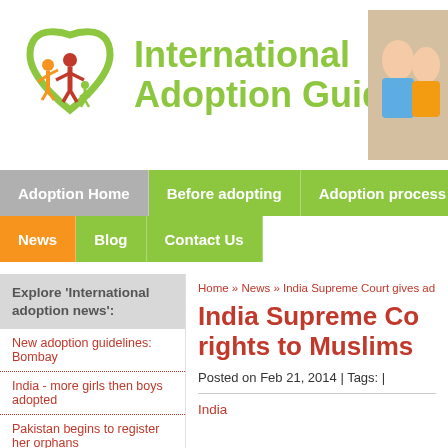[Figure (logo): International Adoption Guide logo with green heart outline and orange/red figures, with text 'International Adoption Guide' in green, and a photo of children on the right]
Adoption Home | Before adopting | Adoption process | Intern...
News | Blog | Contact Us
Home » News » India Supreme Court gives ad...
Explore 'International adoption news':
New adoption guidelines: Bombay
India - more girls then boys adopted
Pakistan begins to register her orphans
Horrendous poverty in Kenyan orphanages
India adoption by single male
India Supreme Co... rights to Muslims ...
Posted on Feb 21, 2014 | Tags: |
India